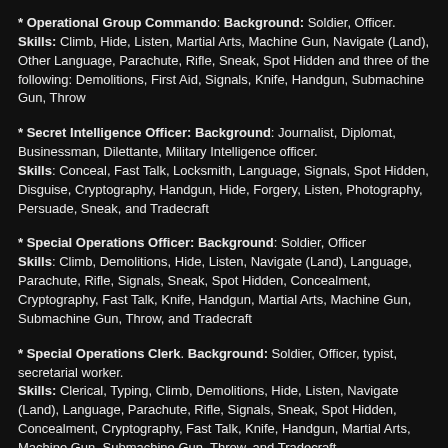* Operational Group Commando: Background: Soldier, Officer. Skills: Climb, Hide, Listen, Martial Arts, Machine Gun, Navigate (Land), Other Language, Parachute, Rifle, Sneak, Spot Hidden and three of the following: Demolitions, First Aid, Signals, Knife, Handgun, Submachine Gun, Throw
* Secret Intelligence Officer: Background: Journalist, Diplomat, Businessman, Dilettante, Military Intelligence officer. Skills: Conceal, Fast Talk, Locksmith, Language, Signals, Spot Hidden, Disguise, Cryptography, Handgun, Hide, Forgery, Listen, Photography, Persuade, Sneak, and Tradecraft
* Special Operations Officer: Background: Soldier, Officer Skills: Climb, Demolitions, Hide, Listen, Navigate (Land), Language, Parachute, Rifle, Signals, Sneak, Spot Hidden, Concealment, Cryptography, Fast Talk, Knife, Handgun, Martial Arts, Machine Gun, Submachine Gun, Throw, and Tradecraft
* Special Operations Clerk. Background: Soldier, Officer, typist, secretarial worker. Skills: Clerical, Typing, Climb, Demolitions, Hide, Listen, Navigate (Land), Language, Parachute, Rifle, Signals, Sneak, Spot Hidden, Concealment, Cryptography, Fast Talk, Knife, Handgun, Martial Arts, Machine Gun, Submachine Gun, Throw, and Tradecraft